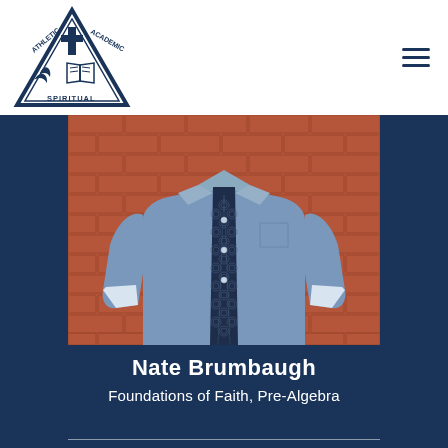[Figure (logo): School logo with triangle shape containing cross, open book, and bird/flame imagery. Text reads: ATHLETIC, ACADEMIC, SPIRITUAL]
[Figure (photo): Portrait photo of a man from neck to mid-thigh, wearing a blue chambray shirt with a dark navy patterned tie, standing in front of a brick wall background]
Nate Brumbaugh
Foundations of Faith, Pre-Algebra